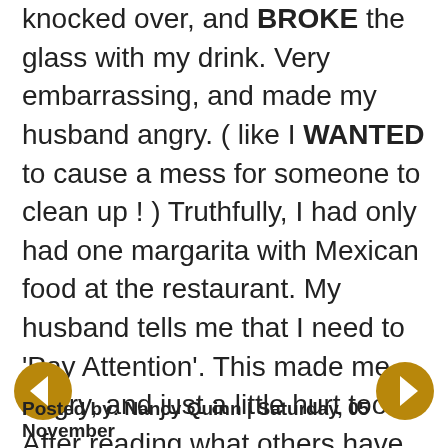knocked over, and BROKE the glass with my drink. Very embarrassing, and made my husband angry. ( like I WANTED to cause a mess for someone to clean up ! ) Truthfully, I had only had one margarita with Mexican food at the restaurant. My husband tells me that I need to 'Pay Attention'. This made me angry, and just a little hurt too. After reading what others have posted, I'm thinking ,maybe he WAS right. Maybe I do need to 'pay attention' better. Hopefully, it IS just 'Old Age' --YUCK !!!
Posted by: Nancy Quinn | Saturday, 05 November